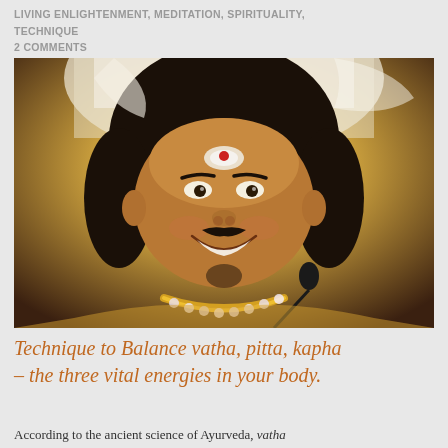LIVING ENLIGHTENMENT, MEDITATION, SPIRITUALITY, TECHNIQUE
2 COMMENTS
[Figure (photo): A smiling man with a red bindi on his forehead, wearing traditional Indian attire with gold jewelry and flower garlands, speaking into a microphone. Background is yellow-golden tones.]
Technique to Balance vatha, pitta, kapha – the three vital energies in your body.
According to the ancient science of Ayurveda, vatha